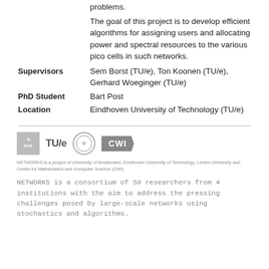problems.
The goal of this project is to develop efficient algorithms for assigning users and allocating power and spectral resources to the various pico cells in such networks.
| Supervisors | Sem Borst (TU/e), Ton Koonen (TU/e), Gerhard Woeginger (TU/e) |
| PhD Student | Bart Post |
| Location | Eindhoven University of Technology (TU/e) |
[Figure (logo): Logos of UvA, TU/e, Leiden University, and CWI]
NETWORKS is a project of University of Amsterdam, Eindhoven University of Technology, Leiden University and Center for Mathematics and Computer Science (CWI)
NETWORKS is a consortium of 50 researchers from 4 institutions with the aim to address the pressing challenges posed by large-scale networks using stochastics and algorithms.